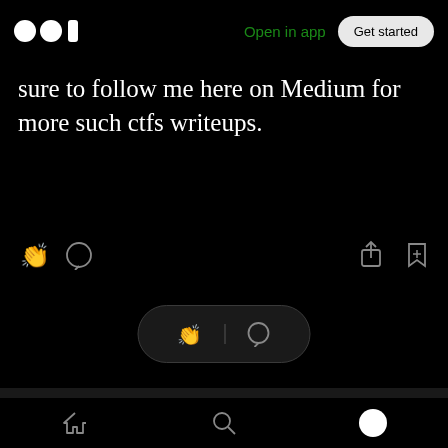Medium app header with logo, Open in app, Get started button
sure to follow me here on Medium for more such ctfs writeups.
[Figure (screenshot): Action icons row: clap, comment on left; share, bookmark on right]
[Figure (screenshot): Floating pill with clap and comment icons]
More from ZeusCybersec
I am a Penetration Tester, Currently pursuing OSCP. Skilled in Network Penetration and Penetration Hacking Techniques
Bottom navigation: home, search, profile